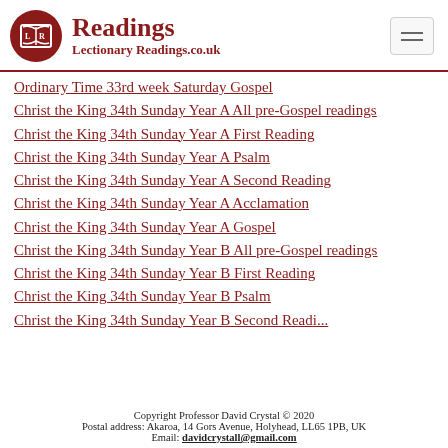Readings — LectionaryReadings.co.uk
Ordinary Time 33rd week Saturday Gospel
Christ the King 34th Sunday Year A All pre-Gospel readings
Christ the King 34th Sunday Year A First Reading
Christ the King 34th Sunday Year A Psalm
Christ the King 34th Sunday Year A Second Reading
Christ the King 34th Sunday Year A Acclamation
Christ the King 34th Sunday Year A Gospel
Christ the King 34th Sunday Year B All pre-Gospel readings
Christ the King 34th Sunday Year B First Reading
Christ the King 34th Sunday Year B Psalm
Christ the King 34th Sunday Year B Second Readi...
Copyright Professor David Crystal © 2020
Postal address: Akaroa, 14 Gors Avenue, Holyhead, LL65 1PB, UK
Email: davidcrystall@gmail.com